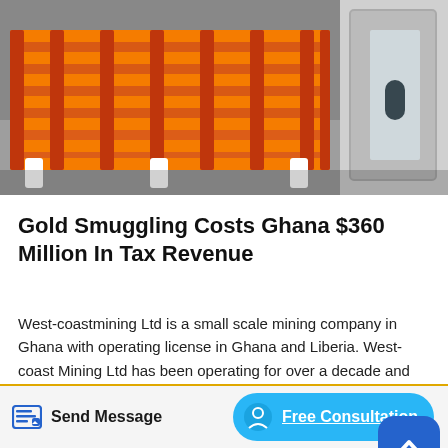[Figure (photo): Industrial orange and white metal frame/grid machinery equipment on a grey floor]
Gold Smuggling Costs Ghana $360 Million In Tax Revenue
West-coastmining Ltd is a small scale mining company in Ghana with operating license in Ghana and Liberia. West-coast Mining Ltd has been operating for over a decade and evolved over the years into what it is today as one of Ghana's most sought after pure gold and diamond small scale mining company with a Minerals Export License from the Precious Minerals Marketing Company (PMMC).The mine is 70 owned by Signature Metals and 30 by the…
[Figure (photo): Industrial interior facility, partially visible at the bottom of the page]